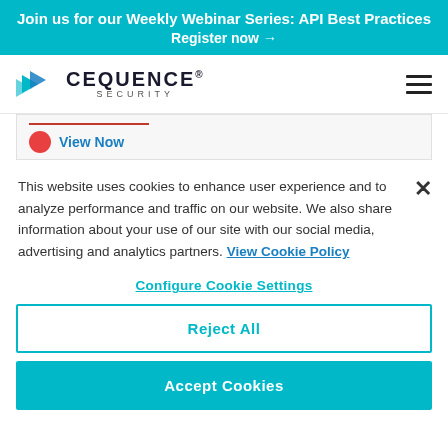Join us for our Weekly Webinar Series: API Best Practices
Register now →
[Figure (logo): Cequence Security logo with teal arrow/chevron icon and bold text CEQUENCE SECURITY]
View Now
This website uses cookies to enhance user experience and to analyze performance and traffic on our website. We also share information about your use of our site with our social media, advertising and analytics partners. View Cookie Policy
Configure Cookie Settings
Reject All
Accept Cookies